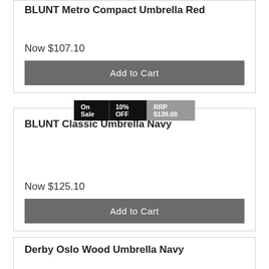BLUNT Metro Compact Umbrella Red
Now $107.10
Add to Cart
On Sale | 10% OFF | RRP $139.00
BLUNT Classic Umbrella Navy
Now $125.10
Add to Cart
Derby Oslo Wood Umbrella Navy
$36.95
Add to Cart